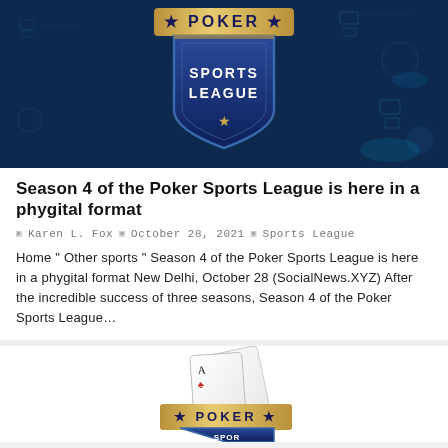[Figure (illustration): Poker Sports League banner image with dark blue background, shield logo showing 'POKER' in gold and 'SPORTS LEAGUE' in white on a blue shield, digital circuit-board style background]
Season 4 of the Poker Sports League is here in a phygital format
Karen L. Fox   October 28, 2021   Sports League
Home " Other sports " Season 4 of the Poker Sports League is here in a phygital format New Delhi, October 28 (SocialNews.XYZ) After the incredible success of three seasons, Season 4 of the Poker Sports League…
[Figure (logo): Poker Sports League logo showing playing cards (K and A) fanned out above a gold banner reading 'POKER' with stars, and a blue shield below partially visible showing 'SPORTS']